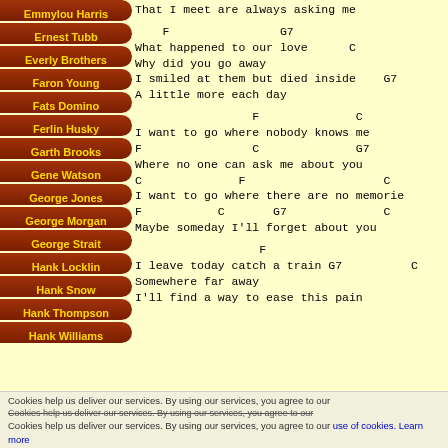Emmylou Harris
Ernest Tubb
Everly Brothers
Faron Young
Fats Domino
Ferlin Husky
Garth Brooks
Gene Watson
George Jones
George Morgan
George Strait
Hank Locklin
Hank Snow
Hank Thompson
Hank Williams
That I meet are always asking me

    F                G7
What happened to our love
     C
Why did you go away
                              F
I smiled at them but died inside
   G7              C
A little more each day

                 F              C
I want to go where nobody knows me
F                C              G7
Where no one can ask me about you
C              F                    C
I want to go where there are no memories
F           C       G7              C
Maybe someday I'll forget about you

                  F
I leave today catch a train
G7          C
Somewhere far away
                              F
I'll find a way to ease this pain
Cookies help us deliver our services. By using our services, you agree to our
Cookies help us deliver our services. By using our services, you agree to our
Cookies help us deliver our services. By using our services, you agree to our use of cookies. Learn more